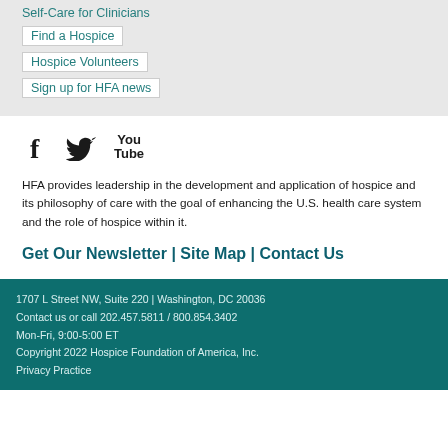Self-Care for Clinicians
Find a Hospice
Hospice Volunteers
Sign up for HFA news
[Figure (other): Social media icons: Facebook, Twitter, YouTube]
HFA provides leadership in the development and application of hospice and its philosophy of care with the goal of enhancing the U.S. health care system and the role of hospice within it.
Get Our Newsletter | Site Map | Contact Us
1707 L Street NW, Suite 220 | Washington, DC 20036
Contact us or call 202.457.5811 / 800.854.3402
Mon-Fri, 9:00-5:00 ET
Copyright 2022 Hospice Foundation of America, Inc.
Privacy Practice